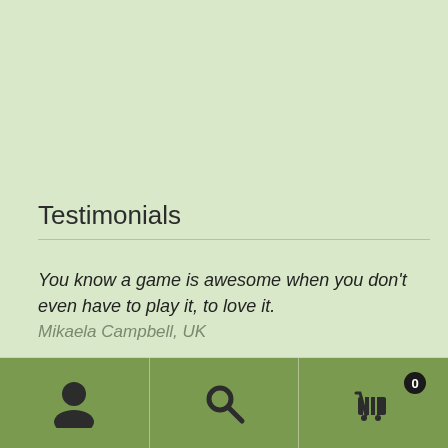Testimonials
You know a game is awesome when you don’t even have to play it, to love it.
Mikaela Campbell, UK
It’s great fun for the whole family.  Even dad plays, which is a first.
Ben Strong, USA
[Figure (other): Bottom navigation bar with user/account icon, search icon, and shopping cart icon with badge showing 0]